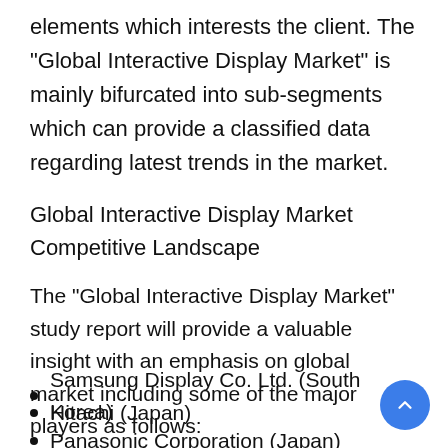elements which interests the client. The “Global Interactive Display Market” is mainly bifurcated into sub-segments which can provide a classified data regarding latest trends in the market.
Global Interactive Display Market Competitive Landscape
The “Global Interactive Display Market” study report will provide a valuable insight with an emphasis on global market including some of the major players as follows:
Samsung Display Co. Ltd. (South Korea)
Hitachi (Japan)
Panasonic Corporation (Japan)